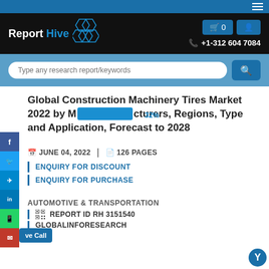Report Hive — Market Research Reports website header with navigation, cart, user icon, phone +1-312 604 7084, and search bar
Global Construction Machinery Tires Market 2022 by Manufacturers, Regions, Type and Application, Forecast to 2028
JUNE 04, 2022 | 126 PAGES
ENQUIRY FOR DISCOUNT
ENQUIRY FOR PURCHASE
AUTOMOTIVE & TRANSPORTATION
REPORT ID RH 3151540
GLOBALINFORESEARCH